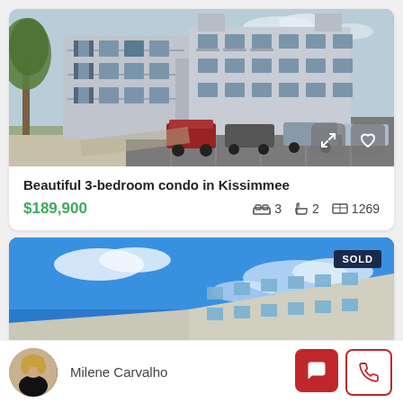[Figure (photo): Exterior photo of a multi-story residential condo building with parking lot and trees]
Beautiful 3-bedroom condo in Kissimmee
$189,900   🛏 3   🚿 2   📐 1269
[Figure (photo): Exterior photo of a building with blue sky, SOLD badge overlay]
Milene Carvalho